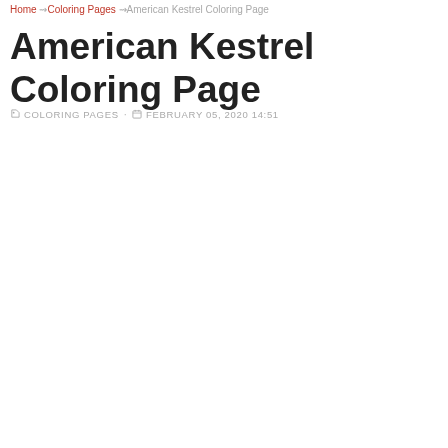Home ⇝ Coloring Pages ⇝ American Kestrel Coloring Page
American Kestrel Coloring Page
COLORING PAGES · FEBRUARY 05, 2020 14:51